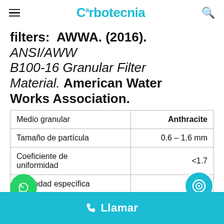Carbotecnia
filters: AWWA. (2016). ANSI/AWWA B100-16 Granular Filter Material. American Water Works Association.
| Medio granular | Anthracite |
| --- | --- |
| Tamaño de partícula | 0.6 – 1.6 mm |
| Coeficiente de uniformidad | <1.7 |
| Gravedad específica | >1.4 |
| Solubilidad en ácido | <5% |
Llamar